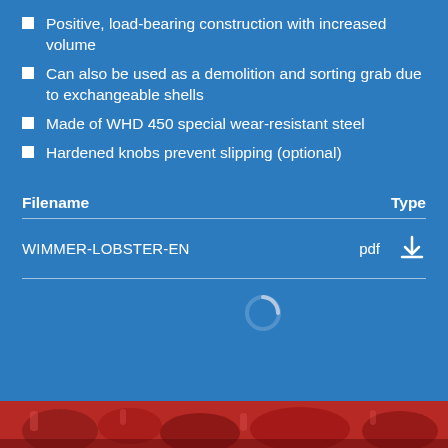Positive, load-bearing construction with increased volume
Can also be used as a demolition and sorting grab due to exchangeable shells
Made of WHD 450 special wear-resistant steel
Hardened knobs prevent slipping (optional)
| Filename | Type |
| --- | --- |
| WIMMER-LOBSTER-EN | pdf |
[Figure (photo): Red machinery/equipment parts shown at bottom of page]